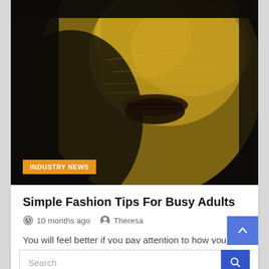[Figure (photo): Close-up photo of a face covered in gold leaf texture against a dark background]
INDUSTRY NEWS
Simple Fashion Tips For Busy Adults
10 months ago   Theresa
You will feel better if you pay attention to how you look. This is the spark that ignites an interest in fashion for most people. Being fashionable is all about…
Search